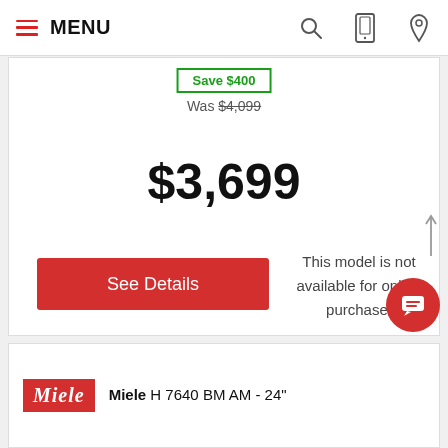MENU
Save $400
Was $4,099
$3,699
See Details
This model is not available for online purchase.
[Figure (logo): Miele brand logo in red rectangle with white italic text]
Miele H 7640 BM AM - 24"